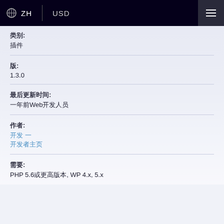ZH | USD
类别:
插件
版:
1.3.0
最后更新时间:
一年前Web开发人员
作者:
开发 一
开发者主页
需要:
PHP 5.6或更高版本, WP 4.x, 5.x